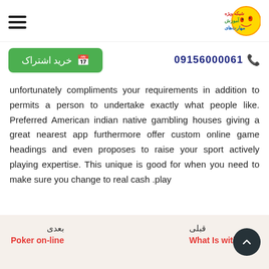خرید اشتراک | 09156000061
unfortunately compliments your requirements in addition to permits a person to undertake exactly what people like. Preferred American indian native gambling houses giving a great nearest app furthermore offer custom online game headings and even proposes to raise your sport actively playing expertise. This unique is good for when you need to make sure you change to real cash .play
بعدی: Poker on-line | قبلی: What Is without a